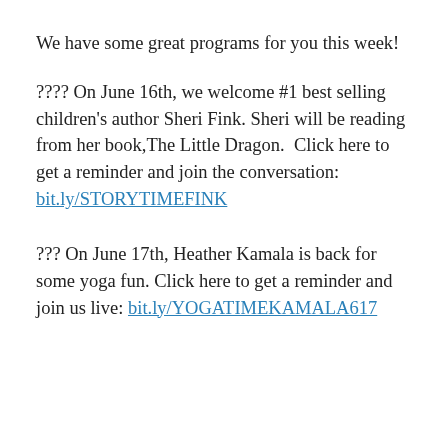We have some great programs for you this week!
???? On June 16th, we welcome #1 best selling children's author Sheri Fink. Sheri will be reading from her book,The Little Dragon.  Click here to get a reminder and join the conversation: bit.ly/STORYTIMEFINK
??? On June 17th, Heather Kamala is back for some yoga fun. Click here to get a reminder and join us live: bit.ly/YOGATIMEKAMALA617